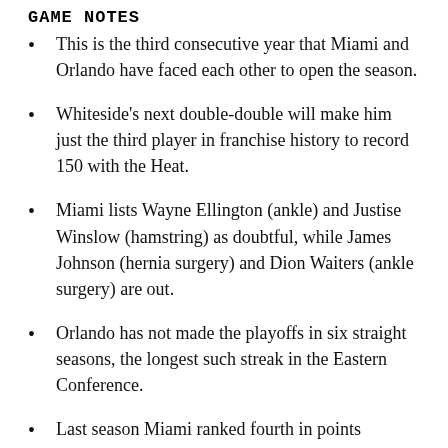GAME NOTES
This is the third consecutive year that Miami and Orlando have faced each other to open the season.
Whiteside's next double-double will make him just the third player in franchise history to record 150 with the Heat.
Miami lists Wayne Ellington (ankle) and Justise Winslow (hamstring) as doubtful, while James Johnson (hernia surgery) and Dion Waiters (ankle surgery) are out.
Orlando has not made the playoffs in six straight seasons, the longest such streak in the Eastern Conference.
Last season Miami ranked fourth in points